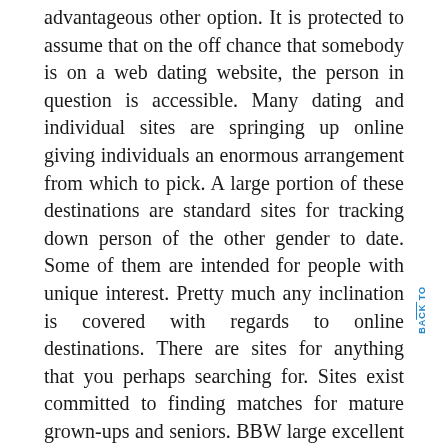advantageous other option. It is protected to assume that on the off chance that somebody is on a web dating website, the person in question is accessible. Many dating and individual sites are springing up online giving individuals an enormous arrangement from which to pick. A large portion of these destinations are standard sites for tracking down person of the other gender to date. Some of them are intended for people with unique interest. Pretty much any inclination is covered with regards to online destinations. There are sites for anything that you perhaps searching for. Sites exist committed to finding matches for mature grown-ups and seniors. BBW large excellent ladies and the ones who love them have a site. There are destinations for serious relationships, single guardians and even Christians have a site, to give some examples. For individuals searching for easygoing, experiences, suggestive, dreams, and